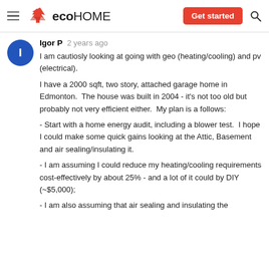eco HOME  Get started
Igor P  2 years ago
I am cautiosly looking at going with geo (heating/cooling) and pv (electrical).
I have a 2000 sqft, two story, attached garage home in Edmonton.  The house was built in 2004 - it's not too old but probably not very efficient either.  My plan is a follows:

- Start with a home energy audit, including a blower test.  I hope I could make some quick gains looking at the Attic, Basement and air sealing/insulating it.

- I am assuming I could reduce my heating/cooling requirements cost-effectively by about 25% - and a lot of it could by DIY (~$5,000);

- I am also assuming that air sealing and insulating the